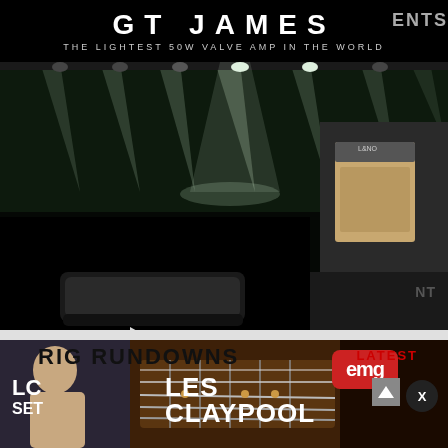GT JAMES
THE LIGHTEST 50W VALVE AMP IN THE WORLD
[Figure (photo): Stage with dramatic beam lighting and concert atmosphere; overlaid video player showing a guitar pedal/device with play button; right side shows a small guitar amplifier]
RIG RUNDOWNS
LATEST
[Figure (photo): Banner showing Les Claypool with EMG pickups branding - person on left, guitar strings in center, EMG logo badge on right, LC SET label, text reading LES CLAYPOOL]